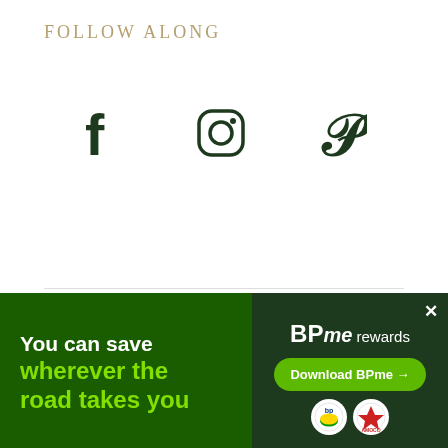FOLLOW ALONG
[Figure (other): Social media icons: Facebook (f), Instagram (camera), Pinterest (P) displayed in dark green]
CATEGORIES
[Figure (other): Dropdown selector with placeholder text 'Select Category' and chevron arrow]
[Figure (other): BP advertisement banner: 'You can save wherever the road takes you' with BPme rewards branding, Download BPme button, BP and Amoco logos. Close X button.]